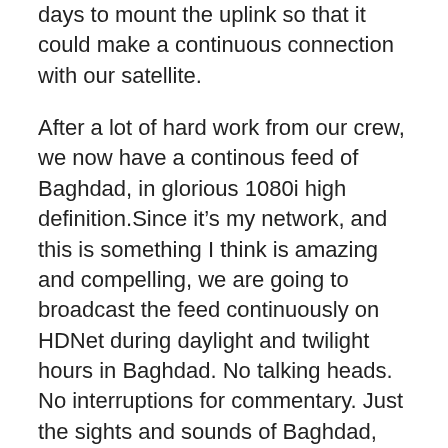days to mount the uplink so that it could make a continuous connection with our satellite.
After a lot of hard work from our crew, we now have a continous feed of Baghdad, in glorious 1080i high definition.Since it’s my network, and this is something I think is amazing and compelling, we are going to broadcast the feed continuously on HDNet during daylight and twilight hours in Baghdad. No talking heads. No interruptions for commentary. Just the sights and sounds of Baghdad, uninterrupted and unedited. What you see, and in High Definition you see and hear a lot, is what you get.
We will have our HDNet World Report crew out covering the elections for their show, but from 2am to 10am EST the next several days, what transpires in Baghdad, that is visible from this rooftop, HDNet viewers are going to see as if they are sitting on that rooftop themselves.